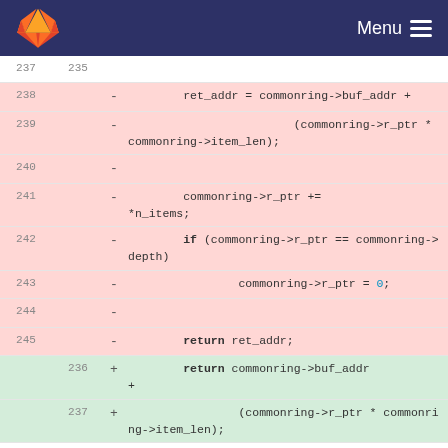[Figure (screenshot): GitLab header bar with logo and Menu button]
237 | 235
238 - ret_addr = commonring->buf_addr +
239 - (commonring->r_ptr * commonring->item_len);
240 -
241 - commonring->r_ptr += *n_items;
242 - if (commonring->r_ptr == commonring->depth)
243 - commonring->r_ptr = 0;
244 -
245 - return ret_addr;
236 + return commonring->buf_addr +
237 + (commonring->r_ptr * commonring->item_len);
246 | 238 }
247 | 239